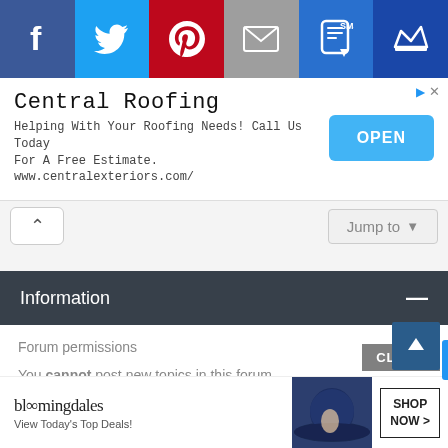[Figure (screenshot): Social media sharing bar with icons for Facebook, Twitter, Pinterest, Email, SMS, and Crown/favorites]
[Figure (screenshot): Advertisement banner for Central Roofing with OPEN button. Text: 'Central Roofing - Helping With Your Roofing Needs! Call Us Today For A Free Estimate. www.centralexteriors.com/']
[Figure (screenshot): Navigation area with up-chevron button and Jump to dropdown]
Information
Forum permissions
You cannot post new topics in this forum
You cannot reply to topics in this forum
You cannot edit your posts in this forum
[Figure (screenshot): Bloomingdale's advertisement: 'View Today's Top Deals!' with SHOP NOW > button and CLOSE button overlay]